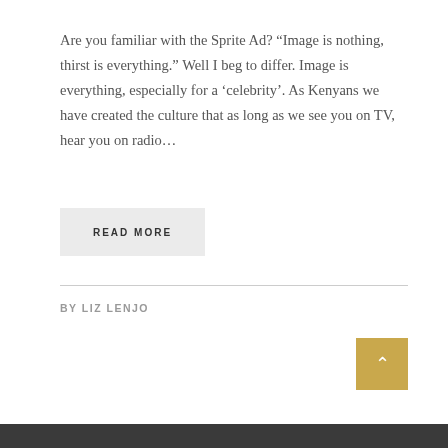Are you familiar with the Sprite Ad? “Image is nothing, thirst is everything.” Well I beg to differ. Image is everything, especially for a ‘celebrity’. As Kenyans we have created the culture that as long as we see you on TV, hear you on radio…
READ MORE
BY LIZ LENJO
[Figure (other): Back to top arrow button, gold/tan square with upward chevron arrow in white]